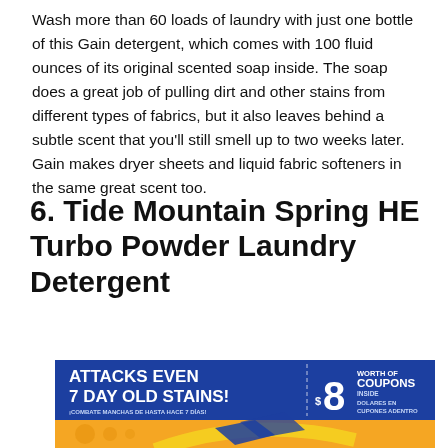Wash more than 60 loads of laundry with just one bottle of this Gain detergent, which comes with 100 fluid ounces of its original scented soap inside. The soap does a great job of pulling dirt and other stains from different types of fabrics, but it also leaves behind a subtle scent that you'll still smell up to two weeks later. Gain makes dryer sheets and liquid fabric softeners in the same great scent too.
6. Tide Mountain Spring HE Turbo Powder Laundry Detergent
[Figure (illustration): Tide laundry detergent product banner. Top blue section with text 'ATTACKS EVEN 7 DAY OLD STAINS!' on the left and '$8 WORTH OF COUPONS INSIDE / DOLARES EN CUPONES ADENTRO' on the right. Bottom orange section with Tide logo and decorative circles visible.]